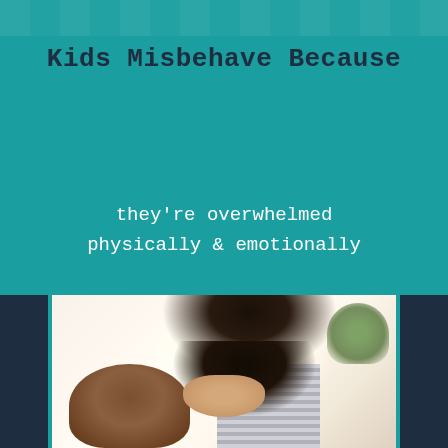Kids Misbehave Because
they're overwhelmed physically & emotionally
[Figure (photo): A mother hugging a crying child who is holding a teddy bear, indoor setting with soft lighting]